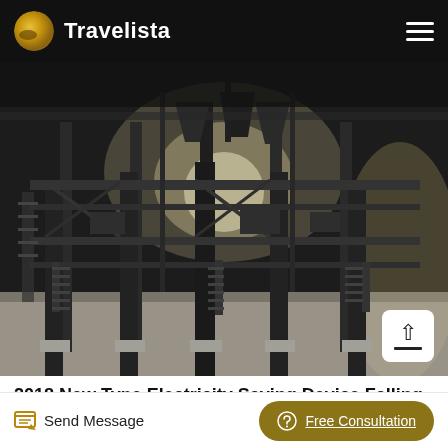Travelista
[Figure (photo): Industrial facility interior showing large steel structural framework with multiple levels, columns, platforms, staircases, and industrial equipment. High-bay warehouse or factory setting with concrete floors and bright light coming through the structure.]
2018 New Type Electricity Saving Device Falling Rocks ...
Send Message
Free Consultation